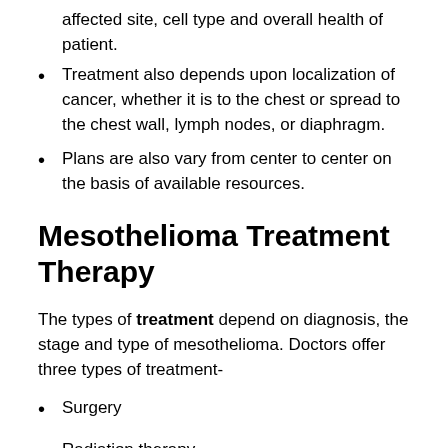affected site, cell type and overall health of patient.
Treatment also depends upon localization of cancer, whether it is to the chest or spread to the chest wall, lymph nodes, or diaphragm.
Plans are also vary from center to center on the basis of available resources.
Mesothelioma Treatment Therapy
The types of treatment depend on diagnosis, the stage and type of mesothelioma. Doctors offer three types of treatment-
Surgery
Radiation therapy,
Chemotherapy